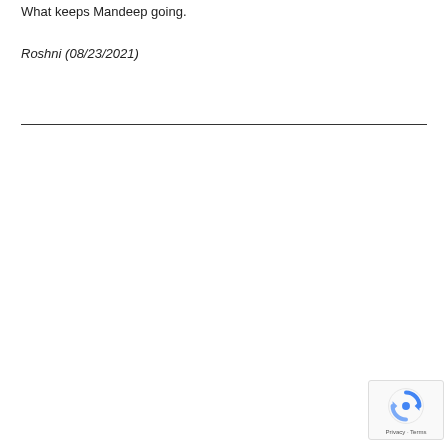What keeps Mandeep going.
Roshni (08/23/2021)
[Figure (other): reCAPTCHA widget with Privacy and Terms links]